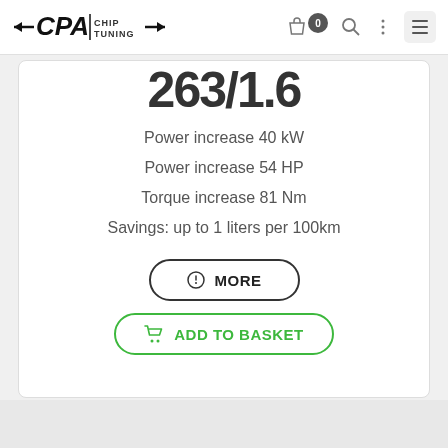CPA CHIPTUNING — navigation bar with logo, cart (0), search, menu icons
263/1.6 (partially visible price/model number at top of card)
Power increase 40 kW
Power increase 54 HP
Torque increase 81 Nm
Savings: up to 1 liters per 100km
MORE (button)
ADD TO BASKET (button)